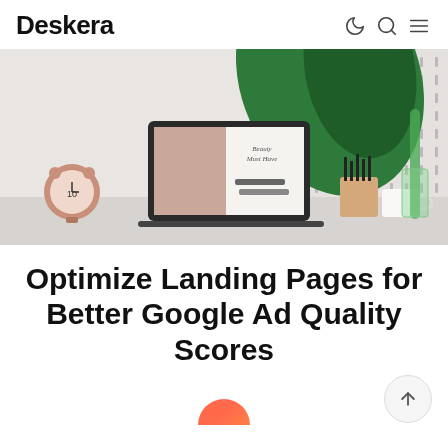Deskera
[Figure (photo): Desk scene with laptop showing a beauty landing page, a rose gold alarm clock, pencil holder, white mug, and a large green tropical leaf against a dotted wall background.]
Optimize Landing Pages for Better Google Ad Quality Scores